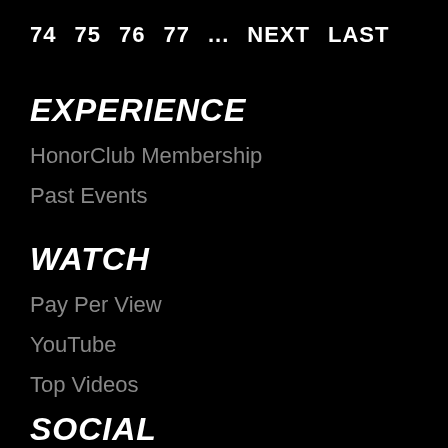74  75  76  77  ...  NEXT  LAST
EXPERIENCE
HonorClub Membership
Past Events
WATCH
Pay Per View
YouTube
Top Videos
SOCIAL